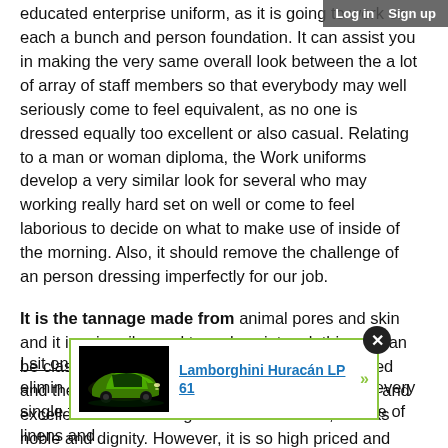Log in  Sign up
educated enterprise uniform, as it is going to work on each a bunch and person foundation. It can assist you in making the very same overall look between the a lot of array of staff members so that everybody may well seriously come to feel equivalent, as no one is dressed equally too excellent or also casual. Relating to a man or woman diploma, the Work uniforms develop a very similar look for several who may working really hard set on well or come to feel laborious to decide on what to make use of inside of the morning. Also, it should remove the challenge of an person dressing imperfectly for our job.
It is the tannage made from animal pores and skin and it is primarily used to make winter clothing. It can be classified into two forms. 1 kind is leather-based and the other is creating fur. Designing fur is mild and excellent at maintaining heat. Furthermore, it looks noble and dignity. However, it is so high priced and hard to be saved that it requirements your special care.
[Figure (other): Advertisement popup showing a green Lamborghini Huracan LP 61 car image on black background with link text 'Lamborghini Huracán LP 61' and green arrow, bordered by green outline with close button]
I sit on  As I elimina every single family members member, furthermore a pile of linens and